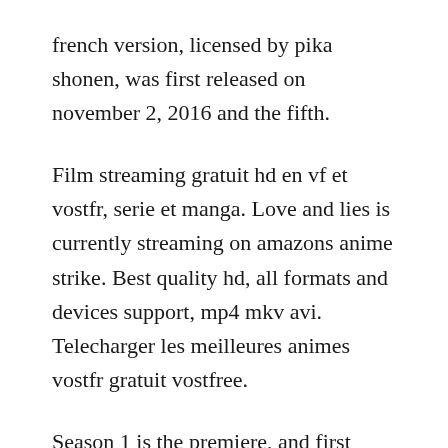french version, licensed by pika shonen, was first released on november 2, 2016 and the fifth.
Film streaming gratuit hd en vf et vostfr, serie et manga. Love and lies is currently streaming on amazons anime strike. Best quality hd, all formats and devices support, mp4 mkv avi. Telecharger les meilleures animes vostfr gratuit vostfree.
Season 1 is the premiere, and first season of abc family series, pretty little liars. All new